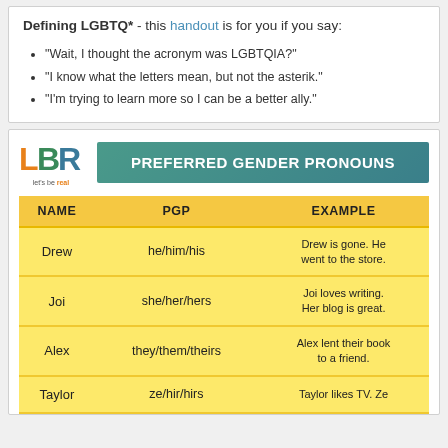Defining LGBTQ* - this handout is for you if you say:
"Wait, I thought the acronym was LGBTQIA?"
"I know what the letters mean, but not the asterik."
"I'm trying to learn more so I can be a better ally."
[Figure (logo): LBR (let's be real) logo with colorful letters]
PREFERRED GENDER PRONOUNS
| NAME | PGP | EXAMPLE |
| --- | --- | --- |
| Drew | he/him/his | Drew is gone. He went to the store. |
| Joi | she/her/hers | Joi loves writing. Her blog is great. |
| Alex | they/them/theirs | Alex lent their book to a friend. |
| Taylor | ze/hir/hirs | Taylor likes TV. Ze... |